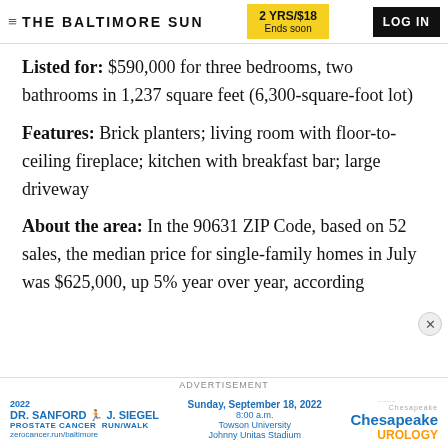THE BALTIMORE SUN | 2 YRS/$18 Ends soon | LOG IN
Listed for: $590,000 for three bedrooms, two bathrooms in 1,237 square feet (6,300-square-foot lot)
Features: Brick planters; living room with floor-to-ceiling fireplace; kitchen with breakfast bar; large driveway
About the area: In the 90631 ZIP Code, based on 52 sales, the median price for single-family homes in July was $625,000, up 5% year over year, according
[Figure (infographic): Advertisement for 2022 Dr. Sanford J. Siegel Prostate Cancer Run/Walk at Towson University Johnny Unitas Stadium, Sunday September 18 2022, 8:00 a.m., with Chesapeake Urology logo. zerocancer.run/baltimore]